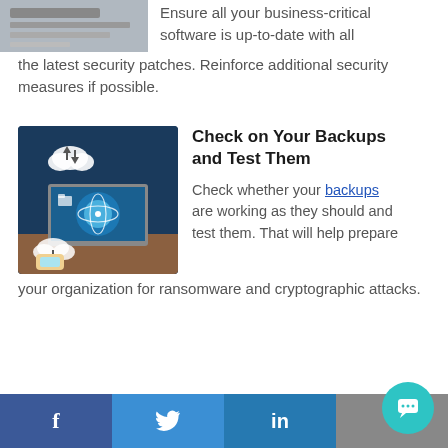[Figure (photo): Partial photo of a laptop or keyboard device, cropped at top]
Ensure all your business-critical software is up-to-date with all the latest security patches. Reinforce additional security measures if possible.
[Figure (photo): Photo showing a laptop with cloud computing and data backup icons overlaid on a teal background]
Check on Your Backups and Test Them
Check whether your backups are working as they should and test them. That will help prepare your organization for ransomware and cryptographic attacks.
f  |  (Twitter bird)  |  in